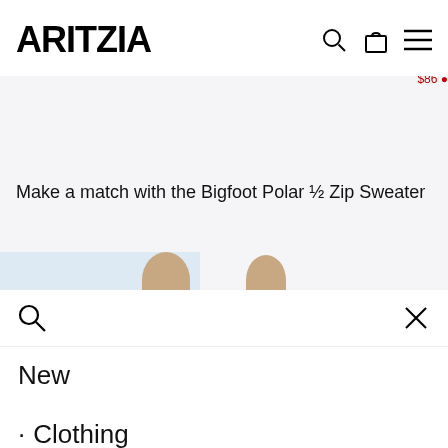ARITZIA
Make a match with the Bigfoot Polar ½ Zip Sweater
[Figure (screenshot): Two product model images partially visible, showing cropped faces/heads of models wearing sweaters, on a light blue background]
[Figure (screenshot): Search overlay with magnifying glass icon on left and X close icon on right]
New
· Clothing
Back In